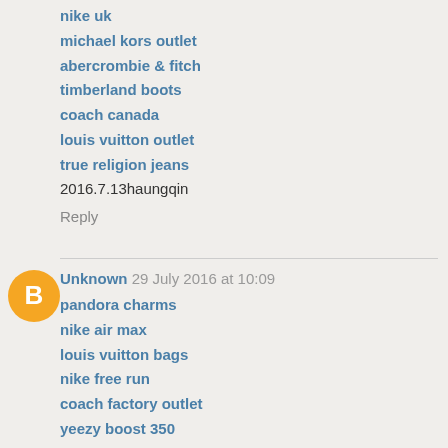nike uk
michael kors outlet
abercrombie & fitch
timberland boots
coach canada
louis vuitton outlet
true religion jeans
2016.7.13haungqin
Reply
Unknown  29 July 2016 at 10:09
pandora charms
nike air max
louis vuitton bags
nike free run
coach factory outlet
yeezy boost 350
cheap jordans
nike air max 90
michael kors outlet
cheap nike air max